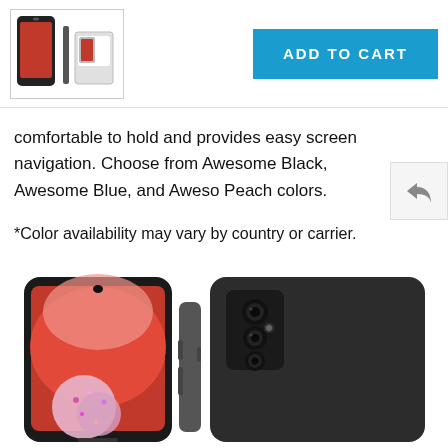[Figure (screenshot): Product thumbnail image of Samsung Galaxy A13 phone with accessories, shown in a bordered box in the top-left header area.]
[Figure (other): ADD TO CART button in cyan/blue background with white bold uppercase text.]
comfortable to hold and provides easy screen navigation. Choose from Awesome Black, Awesome Blue, and Awesome Peach colors.
*Color availability may vary by country or carrier.
[Figure (photo): Three-angle product photo of a Samsung Galaxy A13 smartphone: front view showing red wallpaper with pink glitter ball, side/profile view, and rear view showing quad camera setup, all in black/dark gray color.]